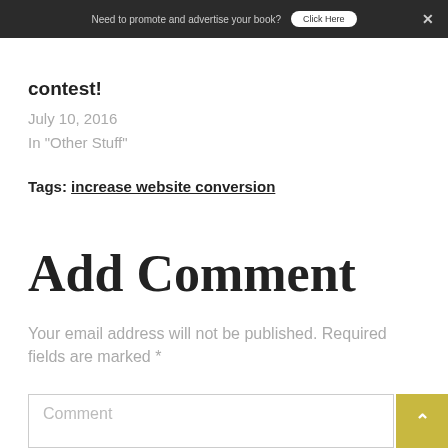Need to promote and advertise your book? Click Here
contest!
July 10, 2016
In "Other Stuff"
Tags: increase website conversion
Add Comment
Your email address will not be published. Required fields are marked *